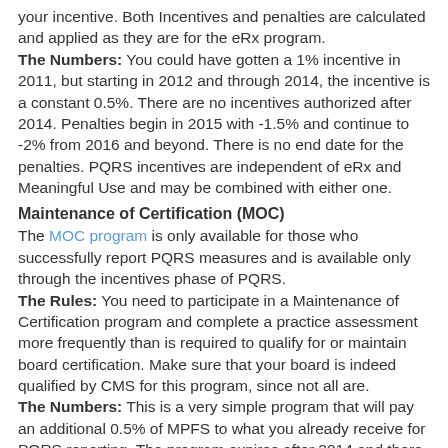your incentive. Both Incentives and penalties are calculated and applied as they are for the eRx program. The Numbers: You could have gotten a 1% incentive in 2011, but starting in 2012 and through 2014, the incentive is a constant 0.5%. There are no incentives authorized after 2014. Penalties begin in 2015 with -1.5% and continue to -2% from 2016 and beyond. There is no end date for the penalties. PQRS incentives are independent of eRx and Meaningful Use and may be combined with either one.
Maintenance of Certification (MOC)
The MOC program is only available for those who successfully report PQRS measures and is available only through the incentives phase of PQRS. The Rules: You need to participate in a Maintenance of Certification program and complete a practice assessment more frequently than is required to qualify for or maintain board certification. Make sure that your board is indeed qualified by CMS for this program, since not all are. The Numbers: This is a very simple program that will pay an additional 0.5% of MPFS to what you already receive for PQRS reporting. The program expires after 2014 and there are no penalties associated with it.